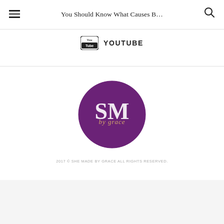You Should Know What Causes B…
[Figure (logo): YouTube icon with text YOUTUBE]
[Figure (logo): SM by Grace circular purple logo with SM monogram and cursive 'by grace' text]
2017 © SHE MADE BY GRACE ALL RIGHTS RESERVED.